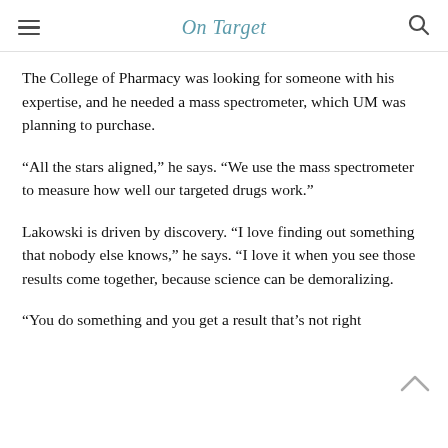On Target
The College of Pharmacy was looking for someone with his expertise, and he needed a mass spectrometer, which UM was planning to purchase.
“All the stars aligned,” he says. “We use the mass spectrometer to measure how well our targeted drugs work.”
Lakowski is driven by discovery. “I love finding out something that nobody else knows,” he says. “I love it when you see those results come together, because science can be demoralizing.
“You do something and you get a result that’s not right